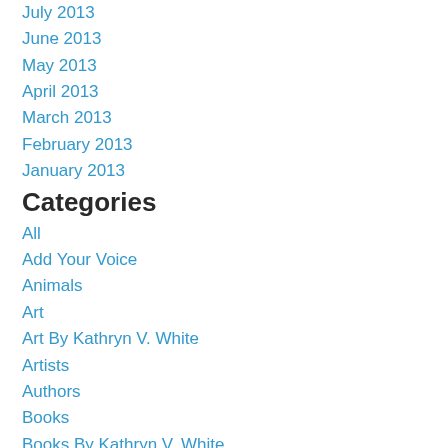July 2013
June 2013
May 2013
April 2013
March 2013
February 2013
January 2013
Categories
All
Add Your Voice
Animals
Art
Art By Kathryn V. White
Artists
Authors
Books
Books By Kathryn V. White
Documentaries
Environment
Feel Good